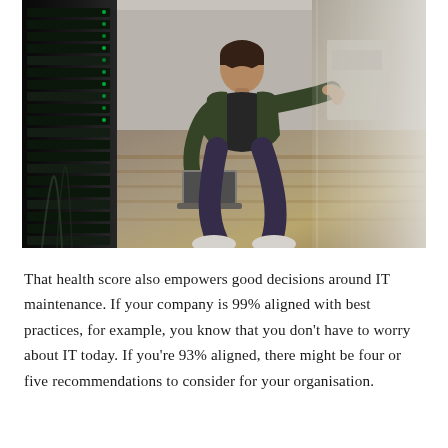[Figure (photo): A man crouching next to a server rack in a data center, holding a laptop. He is viewed through a glass wall. The left side shows stacked server rack units with green cable indicators. The right side shows a warm, glass-walled office environment.]
That health score also empowers good decisions around IT maintenance. If your company is 99% aligned with best practices, for example, you know that you don't have to worry about IT today. If you're 93% aligned, there might be four or five recommendations to consider for your organisation.